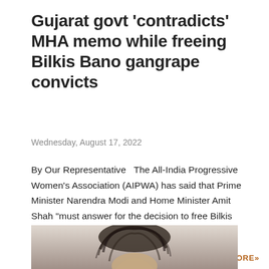Gujarat govt 'contradicts' MHA memo while freeing Bilkis Bano gangrape convicts
Wednesday, August 17, 2022
By Our Representative  The All-India Progressive Women's Association (AIPWA) has said that Prime Minister Narendra Modi and Home Minister Amit Shah "must answer for the decision to free Bilkis Bano's gang rapists." In a statement,   …
SHARE   POST A COMMENT   MORE»
[Figure (photo): A close-up photograph of a person with tousled dark hair, partially cropped, visible from approximately the top of the head to mid-face.]